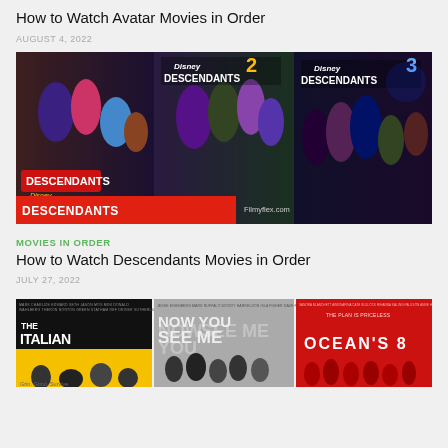How to Watch Avatar Movies in Order
AUGUST 4, 2022
[Figure (photo): Collage of Descendants movie posters (Descendants, Descendants 2, Descendants 3) with red banner text DESCENDANTS MOVIES IN ORDER and filmyflex.com watermark]
MOVIES IN ORDER
How to Watch Descendants Movies in Order
JULY 27, 2022
[Figure (photo): Collage of three movie posters: The Italian Job, Now You See Me, Ocean's 8]